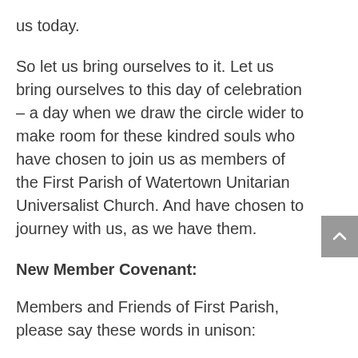us today.
So let us bring ourselves to it. Let us bring ourselves to this day of celebration – a day when we draw the circle wider to make room for these kindred souls who have chosen to join us as members of the First Parish of Watertown Unitarian Universalist Church. And have chosen to journey with us, as we have them.
New Member Covenant:
Members and Friends of First Parish, please say these words in unison:
Congregation: We welcome you as the newest members of our community.